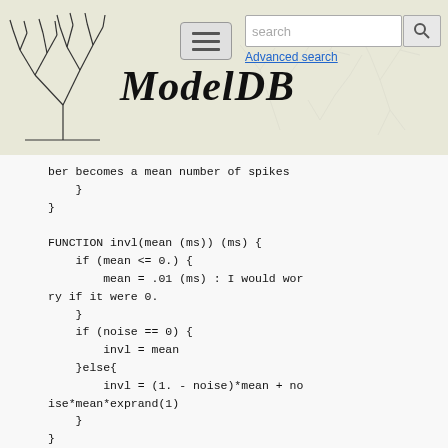[Figure (screenshot): ModelDB website header with neuron tree logo, hamburger menu, search box with 'search' placeholder, search button, 'Advanced search' link, and 'ModelDB' title in italic serif font on a beige/tan patterned background]
ber becomes a mean number of spikes
    }
}

FUNCTION invl(mean (ms)) (ms) {
    if (mean <= 0.) {
        mean = .01 (ms) : I would worry if it were 0.
    }
    if (noise == 0) {
        invl = mean
    }else{
        invl = (1. - noise)*mean + noise*mean*exprand(1)
    }
}

PROCEDURE event_time() {
    if (number > 0) {
        event = event + invl((1/frequ